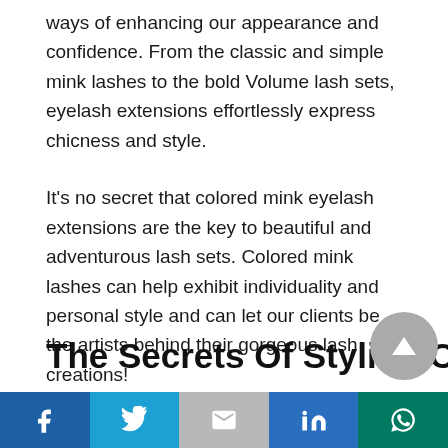ways of enhancing our appearance and confidence. From the classic and simple mink lashes to the bold Volume lash sets, eyelash extensions effortlessly express chicness and style.
It's no secret that colored mink eyelash extensions are the key to beautiful and adventurous lash sets. Colored mink lashes can help exhibit individuality and personal style and can let our clients be the artists behind their gorgeous lash creations!
The Secrets Of Styling Colored
Facebook Twitter Gmail LinkedIn WhatsApp